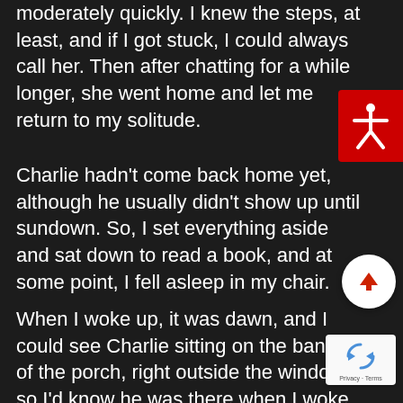moderately quickly. I knew the steps, at least, and if I got stuck, I could always call her. Then after chatting for a while longer, she went home and let me return to my solitude.
Charlie hadn't come back home yet, although he usually didn't show up until sundown. So, I set everything aside and sat down to read a book, and at some point, I fell asleep in my chair.
When I woke up, it was dawn, and I could see Charlie sitting on the banister of the porch, right outside the window, so I'd know he was there when I woke up. As soon as he saw me moving, he started mewling and
[Figure (other): Accessibility icon button: red square with white human figure (accessibility symbol)]
[Figure (other): Scroll-to-top button: white circle with red upward arrow]
[Figure (other): Google reCAPTCHA badge with recycling arrows logo and Privacy - Terms text]